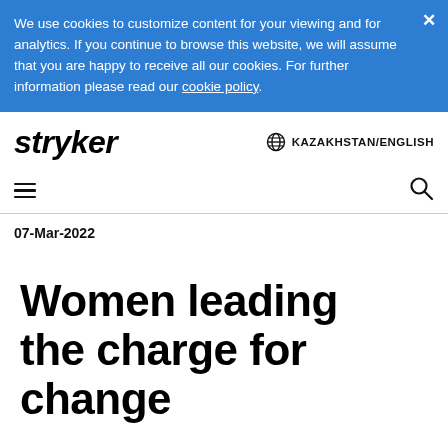We use cookies to customize content for your viewing and for analytics. If you continue to browse this website, we will assume that you are happy to receive all our cookies. For further information please read our cookie policy.
[Figure (logo): Stryker company logo in italic bold black text]
KAZAKHSTAN/ENGLISH
07-Mar-2022
Women leading the charge for change